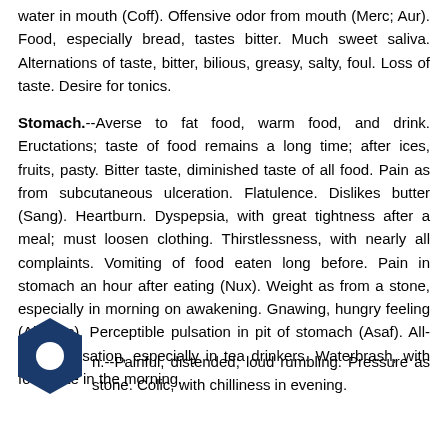water in mouth (Coff). Offensive odor from mouth (Merc; Aur). Food, especially bread, tastes bitter. Much sweet saliva. Alternations of taste, bitter, bilious, greasy, salty, foul. Loss of taste. Desire for tonics.
Stomach.--Averse to fat food, warm food, and drink. Eructations; taste of food remains a long time; after ices, fruits, pasty. Bitter taste, diminished taste of all food. Pain as from subcutaneous ulceration. Flatulence. Dislikes butter (Sang). Heartburn. Dyspepsia, with great tightness after a meal; must loosen clothing. Thirstlessness, with nearly all complaints. Vomiting of food eaten long before. Pain in stomach an hour after eating (Nux). Weight as from a stone, especially in morning on awakening. Gnawing, hungry feeling (Abies c). Perceptible pulsation in pit of stomach (Asaf). All-gone sensation, especially in tea drinkers. Waterbrash, with foul taste in the morning.
[Figure (logo): Dark blue hexagonal logo with circular cutout in center]
n.--Painful, distended; loud rumbling. Pressure as stone. Colic, with chilliness in evening.